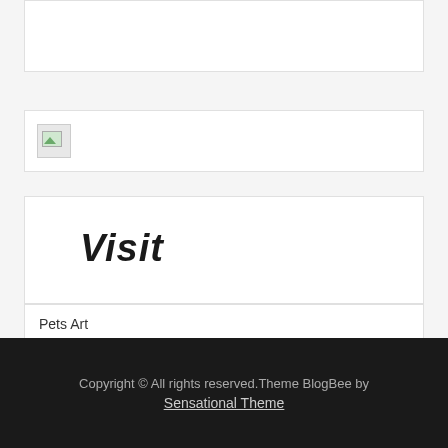[Figure (other): Empty white box at top]
[Figure (photo): Broken/placeholder image icon (small image thumbnail with landscape icon)]
Visit
Pets Art
Copyright © All rights reserved.Theme BlogBee by Sensational Theme